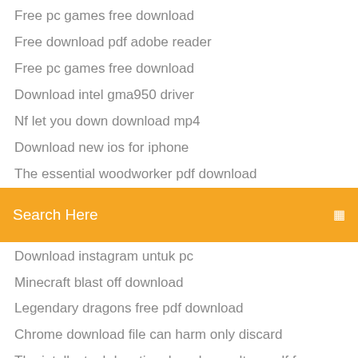Free pc games free download
Free download pdf adobe reader
Free pc games free download
Download intel gma950 driver
Nf let you down download mp4
Download new ios for iphone
The essential woodworker pdf download
Search Here
Download instagram untuk pc
Minecraft blast off download
Legendary dragons free pdf download
Chrome download file can harm only discard
The intellectual devotional modern culture pdf free download
Frontech e cam jil 2243 driver free download
Candy crush pc download windows 7
Download free skins fortnite
Special k app download